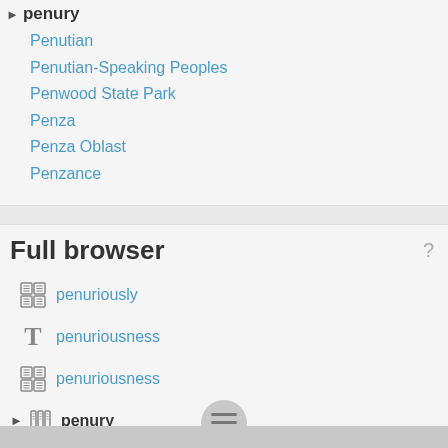penury
Penutian
Penutian-Speaking Peoples
Penwood State Park
Penza
Penza Oblast
Penzance
Full browser
penuriously
penuriousness
penuriousness
penury
Penus
Penus
Penus